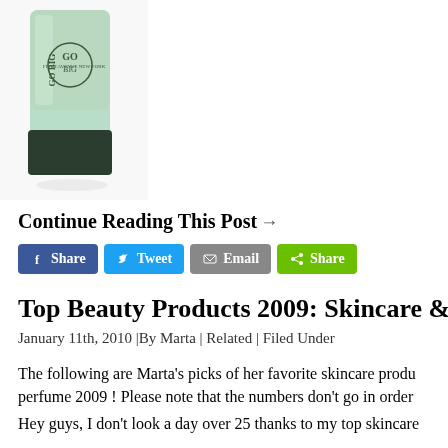[Figure (photo): A mint green skincare/cosmetic bottle with a dark green/black cap, photographed on white background. The label reads 'GO BIG' with New York branding.]
Continue Reading This Post →
[Figure (infographic): Social share buttons: Facebook Share, Twitter Tweet, Email, and green Share button]
Top Beauty Products 2009: Skincare & Perfume
January 11th, 2010 |By Marta | Related | Filed Under
The following are Marta's picks of her favorite skincare products and perfume 2009 ! Please note that the numbers don't go in order
Hey guys, I don't look a day over 25 thanks to my top skincare